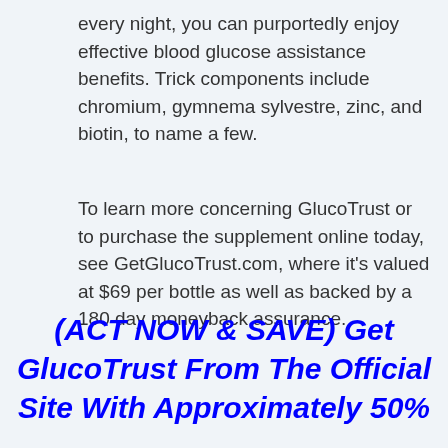every night, you can purportedly enjoy effective blood glucose assistance benefits. Trick components include chromium, gymnema sylvestre, zinc, and biotin, to name a few.
To learn more concerning GlucoTrust or to purchase the supplement online today, see GetGlucoTrust.com, where it’s valued at $69 per bottle as well as backed by a 180 day moneyback assurance.
(ACT NOW & SAVE) Get GlucoTrust From The Official Site With Approximately 50%